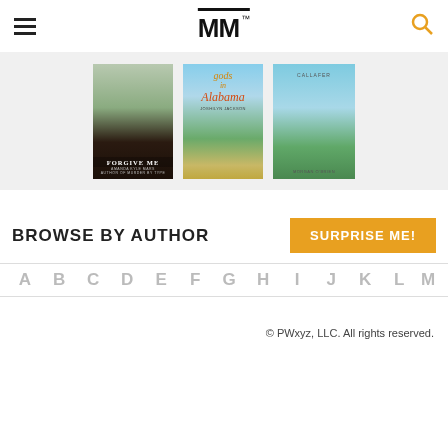MM (logo with TM mark)
[Figure (screenshot): Three book covers displayed in a carousel on a light gray background: 'Forgive Me' by Amanda Kyle Williams, 'Gods in Alabama' by Joshilyn Jackson, and a third book with a green field landscape cover.]
BROWSE BY AUTHOR
SURPRISE ME!
A B C D E F G H I J K L M
© PWxyz, LLC. All rights reserved.